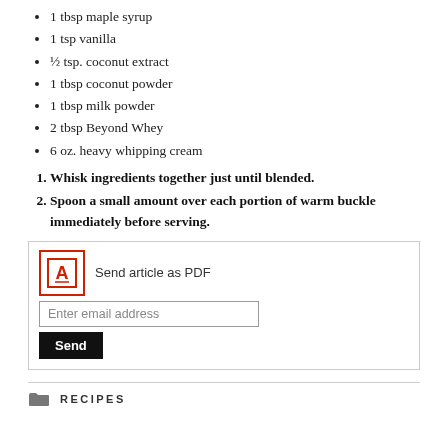1 tbsp maple syrup
1 tsp vanilla
½ tsp. coconut extract
1 tbsp coconut powder
1 tbsp milk powder
2 tbsp Beyond Whey
6 oz. heavy whipping cream
Whisk ingredients together just until blended.
Spoon a small amount over each portion of warm buckle immediately before serving.
Send article as PDF
Enter email address
Send
RECIPES